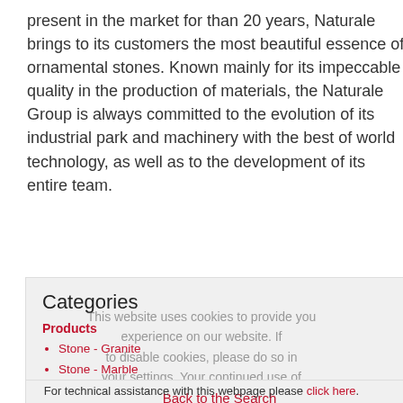present in the market for than 20 years, Naturale brings to its customers the most beautiful essence of ornamental stones. Known mainly for its impeccable quality in the production of materials, the Naturale Group is always committed to the evolution of its industrial park and machinery with the best of world technology, as well as to the development of its entire team.
Categories
Products
Stone - Granite
Stone - Marble
Stone - Quartzite
Stone - Slab
Stone - Soapstone
Back to the Search
For technical assistance with this webpage please click here.